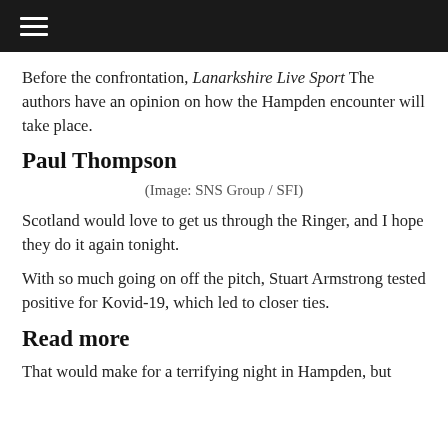≡
Before the confrontation, Lanarkshire Live Sport The authors have an opinion on how the Hampden encounter will take place.
Paul Thompson
(Image: SNS Group / SFI)
Scotland would love to get us through the Ringer, and I hope they do it again tonight.
With so much going on off the pitch, Stuart Armstrong tested positive for Kovid-19, which led to closer ties.
Read more
That would make for a terrifying night in Hampden, but